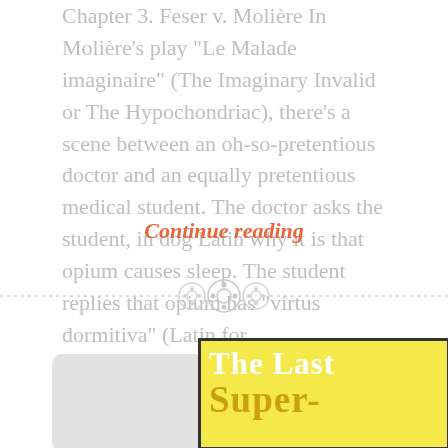Chapter 3. Feser v. Molière In Molière's play "Le Malade imaginaire" (The Imaginary Invalid or The Hypochondriac), there's a scene between an oh-so-pretentious doctor and an equally pretentious medical student. The doctor asks the student, in dog Latin why it is that opium causes sleep. The student replies that opium has "virtus dormitiva" (Latin for...
Continue reading
[Figure (illustration): A decorative divider with dashed lines on each side and three circular button/icon symbols in the center.]
[Figure (illustration): Partial book cover on yellow background with black border. Shows 'The Last Super-' text where 'The Last' is in white bold serif font and 'Super-' is in gold/dark yellow bold serif font.]